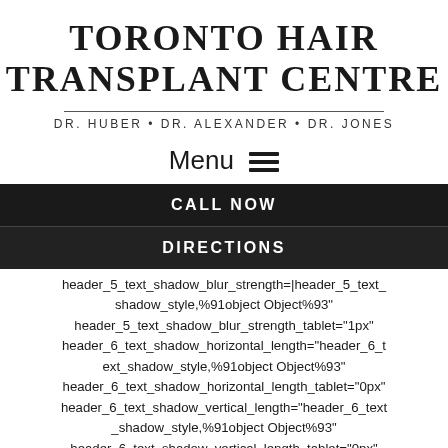TORONTO HAIR TRANSPLANT CENTRE
DR. HUBER • DR. ALEXANDER • DR. JONES
Menu ☰
CALL NOW
DIRECTIONS
header_5_text_shadow_blur_strength=|header_5_text_shadow_style,%91object Object%93" header_5_text_shadow_blur_strength_tablet="1px" header_6_text_shadow_horizontal_length="header_6_text_shadow_style,%91object Object%93" header_6_text_shadow_horizontal_length_tablet="0px" header_6_text_shadow_vertical_length="header_6_text_shadow_style,%91object Object%93" header_6_text_shadow_vertical_length_tablet="0px" header_6_text_shadow_blur_strength="header_6_text_